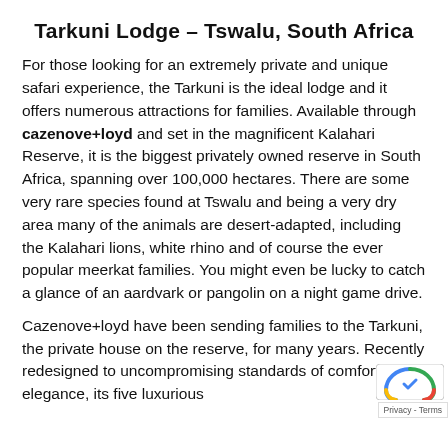Tarkuni Lodge – Tswalu, South Africa
For those looking for an extremely private and unique safari experience, the Tarkuni is the ideal lodge and it offers numerous attractions for families. Available through cazenove+loyd and set in the magnificent Kalahari Reserve, it is the biggest privately owned reserve in South Africa, spanning over 100,000 hectares. There are some very rare species found at Tswalu and being a very dry area many of the animals are desert-adapted, including the Kalahari lions, white rhino and of course the ever popular meerkat families. You might even be lucky to catch a glance of an aardvark or pangolin on a night game drive.
Cazenove+loyd have been sending families to the Tarkuni, the private house on the reserve, for many years. Recently redesigned to uncompromising standards of comfort and elegance, its five luxurious